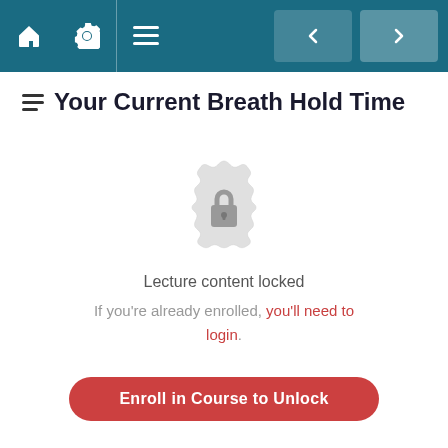Navigation bar with home, settings, menu icons and back/forward buttons
Your Current Breath Hold Time
[Figure (illustration): A decorative badge/seal icon with a lock symbol in the center, rendered in light gray, indicating locked content.]
Lecture content locked
If you're already enrolled, you'll need to login.
Enroll in Course to Unlock